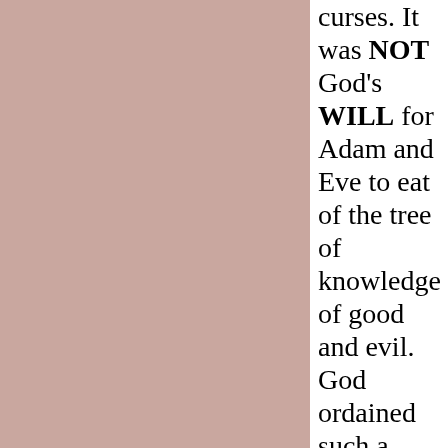[Figure (illustration): Large pink/mauve colored rectangular panel occupying the left two-thirds of the page]
curses. It was NOT God's WILL for Adam and Eve to eat of the tree of knowledge of good and evil. God ordained such a hash punishment for simply